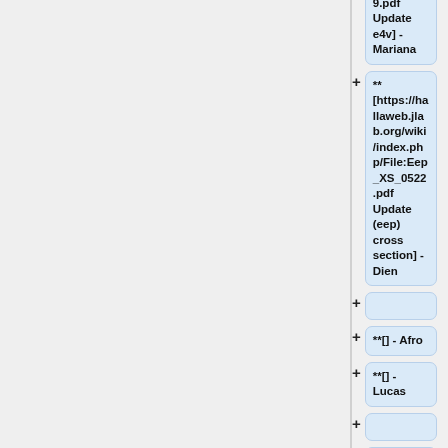** [https://hallaweb.jlab.org/wiki/images/8/80/Neutrinomeeting_may2019.pdf Update e4v] - Mariana
** [https://hallaweb.jlab.org/wiki/index.php/File:Eep_XS_0522.pdf Update (eep) cross section] - Dien
**[] - Afro
**[] - Lucas
*05/15/19
** [https://hallaweb.jl